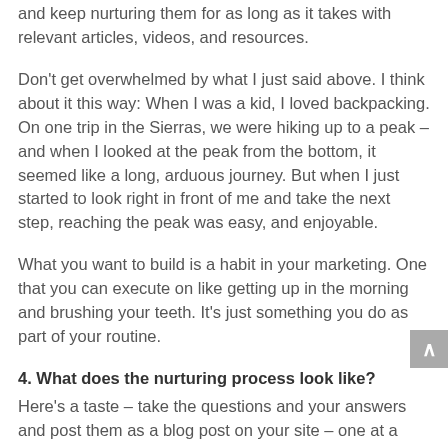and keep nurturing them for as long as it takes with relevant articles, videos, and resources.
Don't get overwhelmed by what I just said above. I think about it this way: When I was a kid, I loved backpacking. On one trip in the Sierras, we were hiking up to a peak – and when I looked at the peak from the bottom, it seemed like a long, arduous journey. But when I just started to look right in front of me and take the next step, reaching the peak was easy, and enjoyable.
What you want to build is a habit in your marketing. One that you can execute on like getting up in the morning and brushing your teeth. It's just something you do as part of your routine.
4. What does the nurturing process look like?
Here's a taste – take the questions and your answers and post them as a blog post on your site – one at a time (think 1 or 2 per week, spaced out). Then write